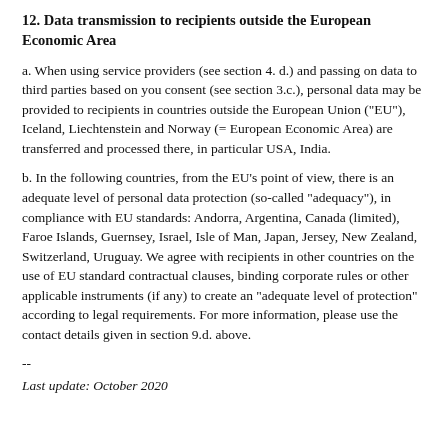12. Data transmission to recipients outside the European Economic Area
a. When using service providers (see section 4. d.) and passing on data to third parties based on you consent (see section 3.c.), personal data may be provided to recipients in countries outside the European Union ("EU"), Iceland, Liechtenstein and Norway (= European Economic Area) are transferred and processed there, in particular USA, India.
b. In the following countries, from the EU's point of view, there is an adequate level of personal data protection (so-called "adequacy"), in compliance with EU standards: Andorra, Argentina, Canada (limited), Faroe Islands, Guernsey, Israel, Isle of Man, Japan, Jersey, New Zealand, Switzerland, Uruguay. We agree with recipients in other countries on the use of EU standard contractual clauses, binding corporate rules or other applicable instruments (if any) to create an "adequate level of protection" according to legal requirements. For more information, please use the contact details given in section 9.d. above.
--
Last update: October 2020